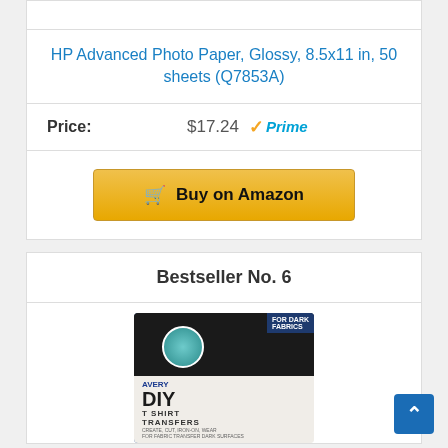HP Advanced Photo Paper, Glossy, 8.5x11 in, 50 sheets (Q7853A)
Price: $17.24 ✓Prime
Buy on Amazon
Bestseller No. 6
[Figure (photo): Avery DIY T-Shirt Transfers product package showing dark t-shirt with circular mountain design logo on shirt and tote bag]